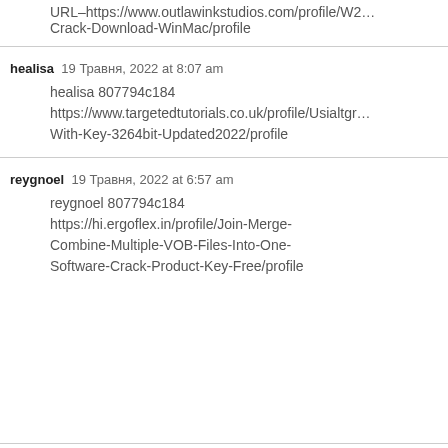URL–https://www.outlawinkstudios.com/profile/W2… Crack-Download-WinMac/profile
healisa  19 Травня, 2022 at 8:07 am
healisa 807794c184
https://www.targetedtutorials.co.uk/profile/Usialtgr… With-Key-3264bit-Updated2022/profile
reygnoel  19 Травня, 2022 at 6:57 am
reygnoel 807794c184
https://hi.ergoflex.in/profile/Join-Merge-Combine-Multiple-VOB-Files-Into-One-Software-Crack-Product-Key-Free/profile